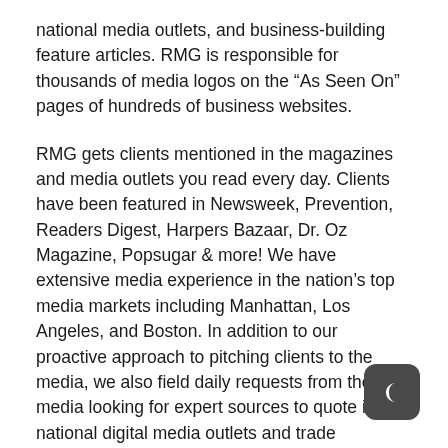national media outlets, and business-building feature articles. RMG is responsible for thousands of media logos on the “As Seen On” pages of hundreds of business websites.
RMG gets clients mentioned in the magazines and media outlets you read every day. Clients have been featured in Newsweek, Prevention, Readers Digest, Harpers Bazaar, Dr. Oz Magazine, Popsugar & more! We have extensive media experience in the nation’s top media markets including Manhattan, Los Angeles, and Boston. In addition to our proactive approach to pitching clients to the media, we also field daily requests from the media looking for expert sources to quote in national digital media outlets and trade publications.
Ruby Media Group matches startup founders and companies with technology journalists, producers,
[Figure (logo): Dark rounded square icon with a crescent moon symbol in white]